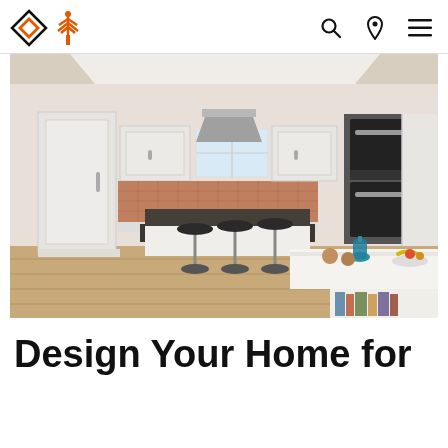Navigation bar with logo, search, location, and menu icons
[Figure (photo): Modern open-plan kitchen with white shaker-style cabinets, dark granite island with black bar stools, copper/terracotta tile backsplash, stainless steel range hood, double wall ovens, light wood flooring, and a white breakfast bar in the foreground with a teal glass bottle and fruit bowl.]
Design Your Home for